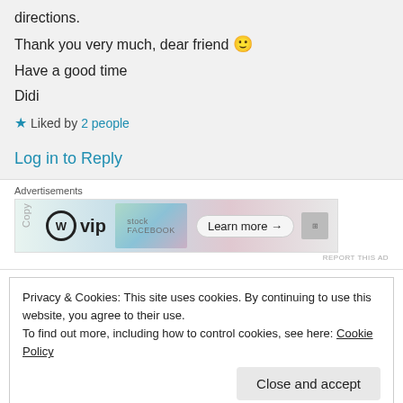directions.
Thank you very much, dear friend 🙂
Have a good time
Didi
★ Liked by 2 people
Log in to Reply
Advertisements
[Figure (other): WordPress VIP advertisement banner with social media platform icons and Learn more button]
REPORT THIS AD
Privacy & Cookies: This site uses cookies. By continuing to use this website, you agree to their use. To find out more, including how to control cookies, see here: Cookie Policy
Close and accept
★ Liked by 4 people